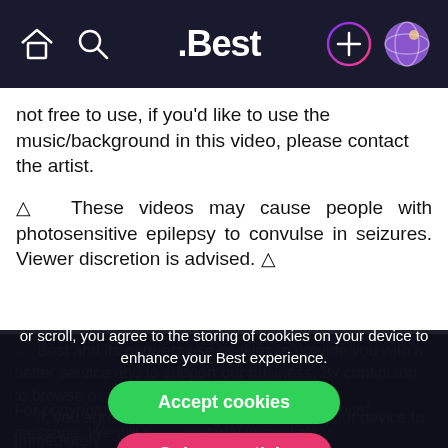.Best navigation bar with home, search, .Best logo, plus, and avatar icons
not free to use, if you'd like to use the music/background in this video, please contact the artist.
⚠ These videos may cause people with photosensitive epilepsy to convulse in seizures. Viewer discretion is advised. ⚠
Best and its partners use cookies to provide you with a better service and to support our business. By continuing to browse or scroll, you agree to the storing of cookies on your device to enhance your Best experience.
Accept cookies
Only essentials
Learn more about our privacy policy.